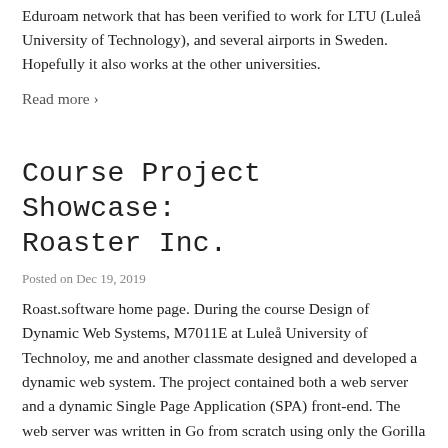Eduroam network that has been verified to work for LTU (Luleå University of Technology), and several airports in Sweden. Hopefully it also works at the other universities.
Read more ›
Course Project Showcase: Roaster Inc.
Posted on Dec 19, 2019
Roast.software home page. During the course Design of Dynamic Web Systems, M7011E at Luleå University of Technoloy, me and another classmate designed and developed a dynamic web system. The project contained both a web server and a dynamic Single Page Application (SPA) front-end. The web server was written in Go from scratch using only the Gorilla libraries for simplifying some parts of the routing. By writing most of the lower level web